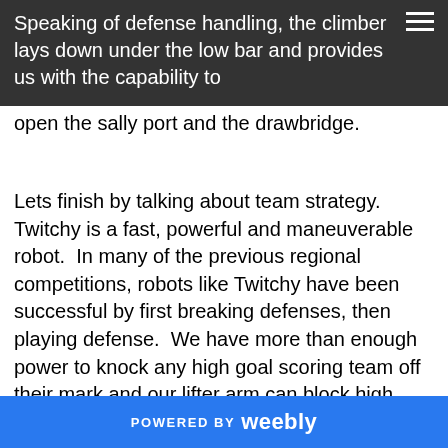Speaking of defense handling, the climber lays down under the low bar and provides us with the capability to open the sally port and the drawbridge.
Lets finish by talking about team strategy.  Twitchy is a fast, powerful and maneuverable robot.  In many of the previous regional competitions, robots like Twitchy have been successful by first breaking defenses, then playing defense.  We have more than enough power to knock any high goal scoring team off their mark and our lifter arm can block high goal scorers fairly reliably.  Twitchy's auto can cross any ground defense, in keeping with the defense breaking theme.
POWERED BY weebly